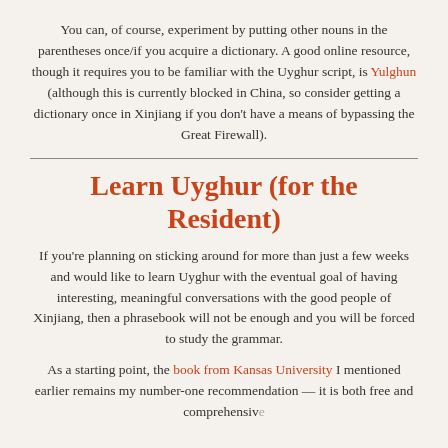You can, of course, experiment by putting other nouns in the parentheses once/if you acquire a dictionary. A good online resource, though it requires you to be familiar with the Uyghur script, is Yulghun (although this is currently blocked in China, so consider getting a dictionary once in Xinjiang if you don't have a means of bypassing the Great Firewall).
Learn Uyghur (for the Resident)
If you're planning on sticking around for more than just a few weeks and would like to learn Uyghur with the eventual goal of having interesting, meaningful conversations with the good people of Xinjiang, then a phrasebook will not be enough and you will be forced to study the grammar.
As a starting point, the book from Kansas University I mentioned earlier remains my number-one recommendation — it is both free and comprehensive